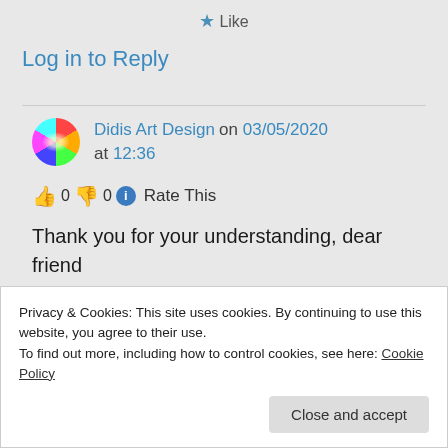★ Like
Log in to Reply
Didis Art Design on 03/05/2020 at 12:36
👍 0 👎 0 ℹ Rate This
Thank you for your understanding, dear friend 🙂
Privacy & Cookies: This site uses cookies. By continuing to use this website, you agree to their use.
To find out more, including how to control cookies, see here: Cookie Policy